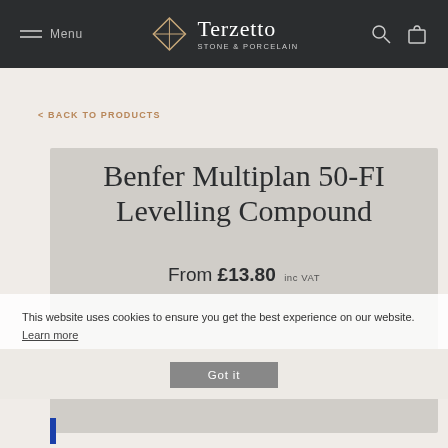Menu | Terzetto Stone & Porcelain
< BACK TO PRODUCTS
Benfer Multiplan 50-FI Levelling Compound
From £13.80  inc VAT
This website uses cookies to ensure you get the best experience on our website.
Learn more
Got it